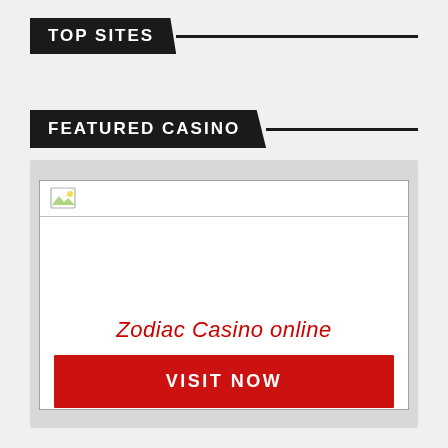TOP SITES
FEATURED CASINO
[Figure (screenshot): Broken image placeholder showing a small broken-image icon in the top-left corner of a white rectangle with a light border, representing a missing casino logo image.]
Zodiac Casino online
VISIT NOW